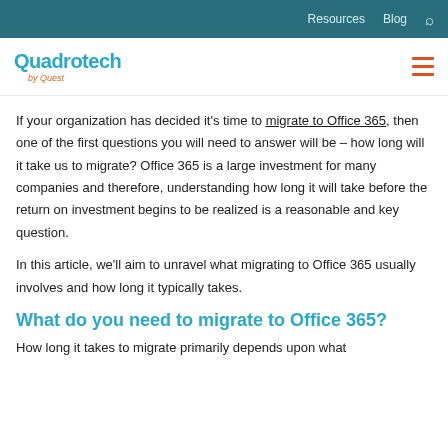Resources  Blog  🔍
Quadrotech by Quest
If your organization has decided it's time to migrate to Office 365, then one of the first questions you will need to answer will be – how long will it take us to migrate? Office 365 is a large investment for many companies and therefore, understanding how long it will take before the return on investment begins to be realized is a reasonable and key question.
In this article, we'll aim to unravel what migrating to Office 365 usually involves and how long it typically takes.
What do you need to migrate to Office 365?
How long it takes to migrate primarily depends upon what